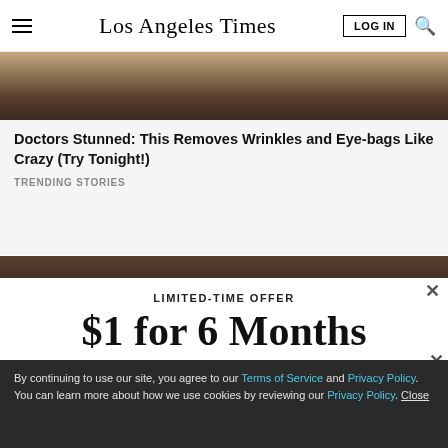Los Angeles Times
[Figure (photo): Partial photo strip at top, showing warm skin tones, cropped]
Doctors Stunned: This Removes Wrinkles and Eye-bags Like Crazy (Try Tonight!)
TRENDING STORIES
[Figure (photo): Second partial photo strip, dark tones, person with dark hair]
LIMITED-TIME OFFER
$1 for 6 Months
SUBSCRIBE NOW
By continuing to use our site, you agree to our Terms of Service and Privacy Policy. You can learn more about how we use cookies by reviewing our Privacy Policy. Close